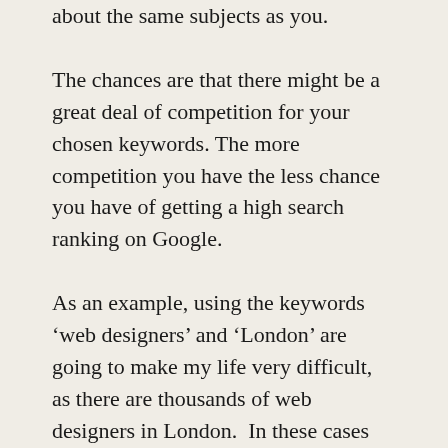about the same subjects as you.
The chances are that there might be a great deal of competition for your chosen keywords. The more competition you have the less chance you have of getting a high search ranking on Google.
As an example, using the keywords ‘web designers’ and ‘London’ are going to make my life very difficult, as there are thousands of web designers in London.  In these cases you need to think about categorising and localising; e.g. ‘freelance web designers London SW6’ will give you a much better chance of being found.  The category being web designers and the locality being SW6.